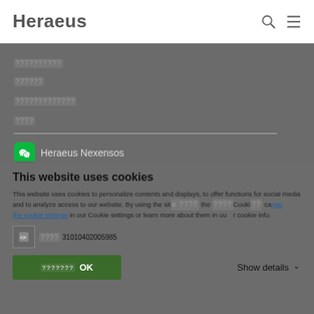Heraeus
[unreadable Chinese characters]
[unreadable Chinese characters]
[unreadable Chinese characters]
WeChat Heraeus Nexensos
YouTube Twitter LinkedIn social icons
This website uses cookies
This website uses cookies to personalize contents and displays, to offer functions for social media and to analyze access to our website. By using the site you are accepting the use of these Cookies but can change the cookie settings in our Cookie settings or learn more about them in our cookie info.
沪 ICP备19018715号-1 沪公网安备 31010402005985
OK | Show details